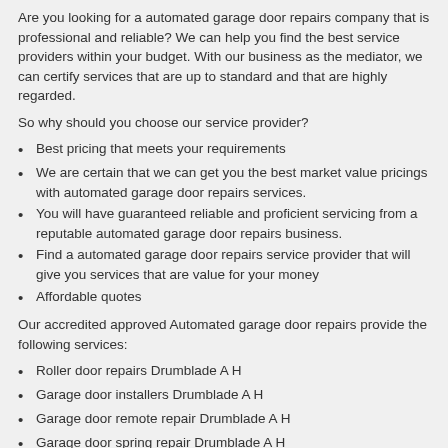Are you looking for a automated garage door repairs company that is professional and reliable? We can help you find the best service providers within your budget. With our business as the mediator, we can certify services that are up to standard and that are highly regarded.
So why should you choose our service provider?
Best pricing that meets your requirements
We are certain that we can get you the best market value pricings with automated garage door repairs services.
You will have guaranteed reliable and proficient servicing from a reputable automated garage door repairs business.
Find a automated garage door repairs service provider that will give you services that are value for your money
Affordable quotes
Our accredited approved Automated garage door repairs provide the following services:
Roller door repairs Drumblade A H
Garage door installers Drumblade A H
Garage door remote repair Drumblade A H
Garage door spring repair Drumblade A H
Automated garage doors prices Drumblade A H
Garage doors Drumblade A H
Roller door installers Drumblade A H
Cheap garage doors for sale Drumblade A H
Automated garage door repairs Drumblade A H